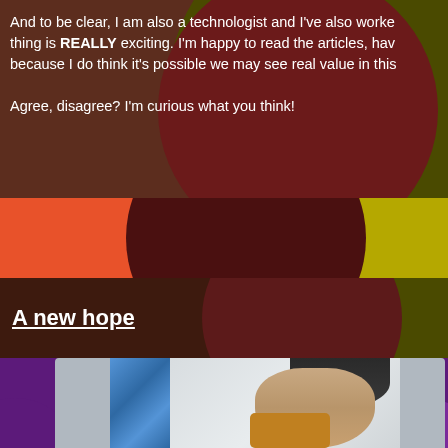And to be clear, I am also a technologist and I've also worke... thing is REALLY exciting. I'm happy to read the articles, hav... because I do think it's possible we may see real value in this...
Agree, disagree? I'm curious what you think!
[Figure (illustration): Decorative colored band with orange, olive/yellow, and dark red circular shapes forming a divider between sections.]
A new hope
[Figure (photo): Photo of a child's raised fist wearing a mustard/yellow sleeve, with a blue rope visible to the left and blurred gray background. Purple decorative circles visible on sides.]